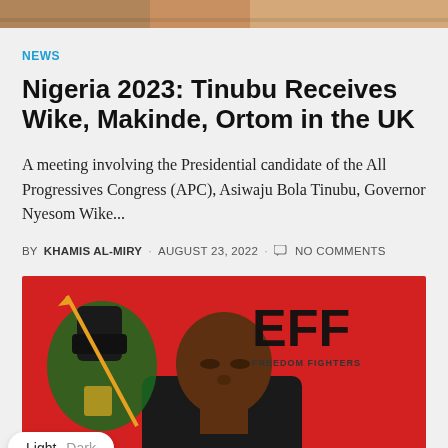[Figure (photo): Top image bar showing partial photograph]
NEWS
Nigeria 2023: Tinubu Receives Wike, Makinde, Ortom in the UK
A meeting involving the Presidential candidate of the All Progressives Congress (APC), Asiwaju Bola Tinubu, Governor Nyesom Wike...
BY KHAMIS AL-MIRY · AUGUST 23, 2022 · NO COMMENTS
[Figure (photo): Person standing in front of EFF (Economic Freedom Fighters) banner/backdrop with red background and black fist logo]